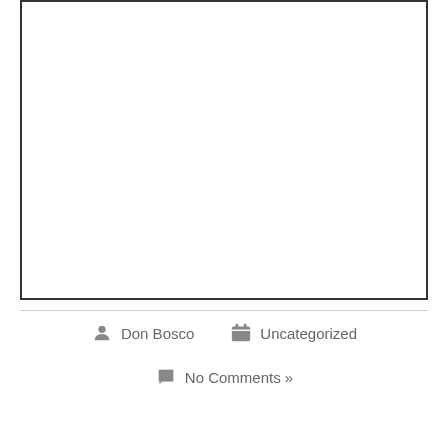[Figure (other): Empty white rectangle with dark border, representing a placeholder image or document figure]
Don Bosco  Uncategorized
No Comments »